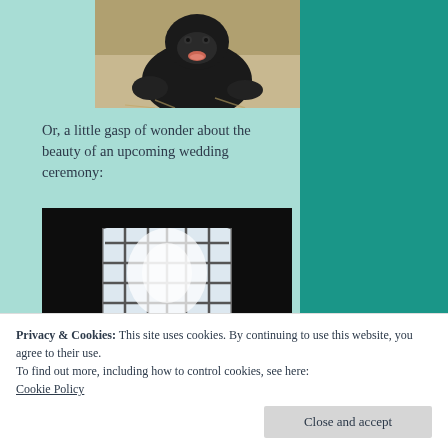[Figure (photo): A black gorilla sitting, with mouth open, against a rocky background]
Or, a little gasp of wonder about the beauty of an upcoming wedding ceremony:
[Figure (photo): Interior of a dark building or chapel with arched window letting in bright light, grid pattern on the glass]
Privacy & Cookies: This site uses cookies. By continuing to use this website, you agree to their use.
To find out more, including how to control cookies, see here: Cookie Policy
Close and accept